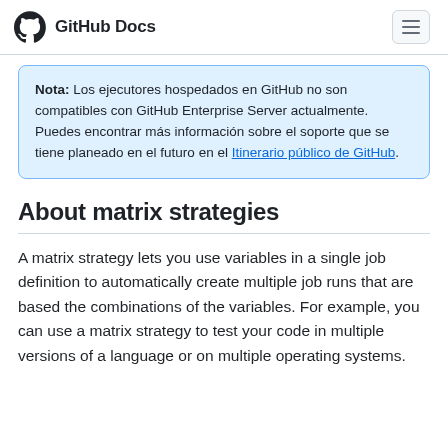GitHub Docs
Nota: Los ejecutores hospedados en GitHub no son compatibles con GitHub Enterprise Server actualmente. Puedes encontrar más información sobre el soporte que se tiene planeado en el futuro en el Itinerario público de GitHub.
About matrix strategies
A matrix strategy lets you use variables in a single job definition to automatically create multiple job runs that are based the combinations of the variables. For example, you can use a matrix strategy to test your code in multiple versions of a language or on multiple operating systems.